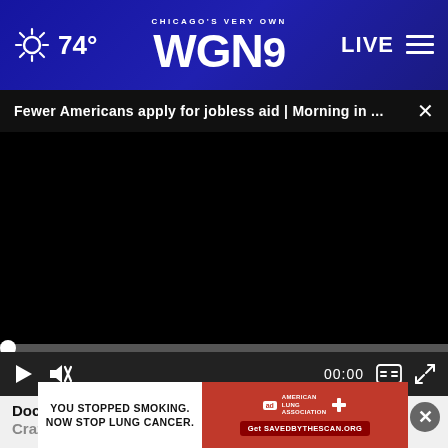CHICAGO'S VERY OWN WGN9 | 74° | LIVE
Fewer Americans apply for jobless aid | Morning in ... ×
[Figure (screenshot): Black video player area with scrubber bar and playback controls showing 00:00 timecode]
Doctors Stunned: This Removes Wrinkles Like Crazy (Try Tonight)
Rejuv...
[Figure (photo): American Lung Association banner ad with text: YOU STOPPED SMOKING. NOW STOP LUNG CANCER. Get SAVEDBYTHE SCAN.ORG]